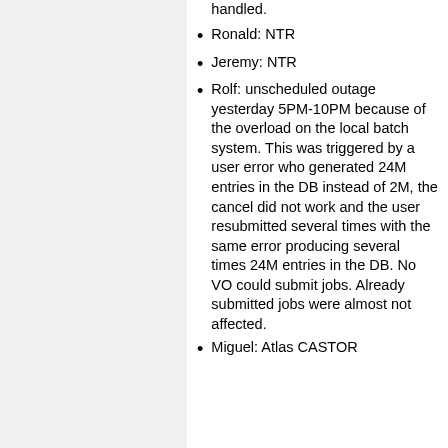handled.
Ronald: NTR
Jeremy: NTR
Rolf: unscheduled outage yesterday 5PM-10PM because of the overload on the local batch system. This was triggered by a user error who generated 24M entries in the DB instead of 2M, the cancel did not work and the user resubmitted several times with the same error producing several times 24M entries in the DB. No VO could submit jobs. Already submitted jobs were almost not affected.
Miguel: Atlas CASTOR